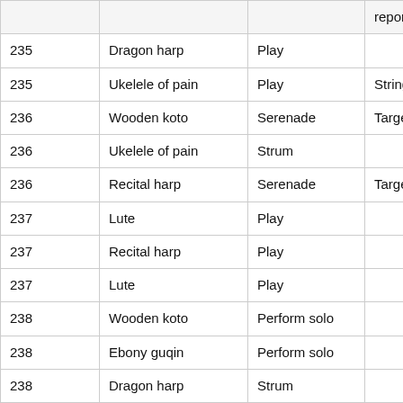|  |  |  | reported |
| --- | --- | --- | --- |
| 235 | Dragon harp | Play |  |
| 235 | Ukelele of pain | Play | Stringed music |
| 236 | Wooden koto | Serenade | Target n reported |
| 236 | Ukelele of pain | Strum |  |
| 236 | Recital harp | Serenade | Target w Giant Fr |
| 237 | Lute | Play |  |
| 237 | Recital harp | Play |  |
| 237 | Lute | Play |  |
| 238 | Wooden koto | Perform solo |  |
| 238 | Ebony guqin | Perform solo |  |
| 238 | Dragon harp | Strum |  |
| 238 | Lute | Perform solo |  |